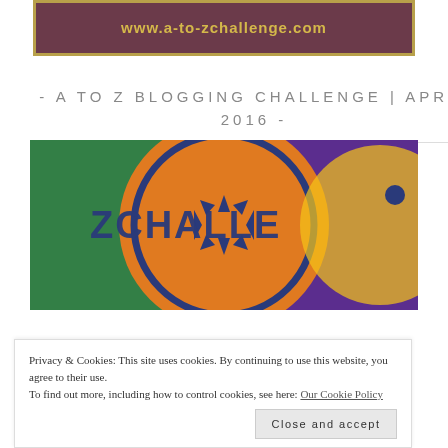[Figure (logo): A-to-Z Challenge banner with brown/maroon background and gold border, showing website URL www.a-to-zchallenge.com in gold text]
- A TO Z BLOGGING CHALLENGE | APRIL 2016 -
[Figure (photo): Colorful A-to-Z Challenge logo image showing circular badge with letters Z CHALLE visible in navy blue on orange/red background with purple surround, pop-art style]
Privacy & Cookies: This site uses cookies. By continuing to use this website, you agree to their use.
To find out more, including how to control cookies, see here: Our Cookie Policy
Close and accept